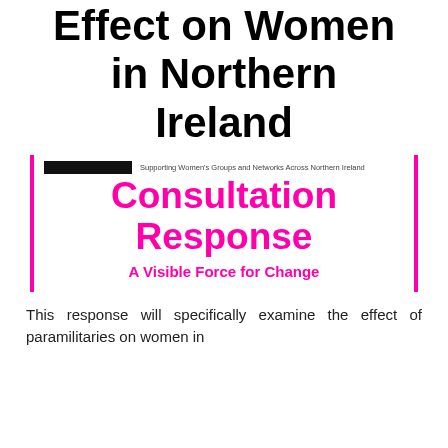Effect on Women in Northern Ireland
[Figure (logo): Consultation Response document cover with pink branding. Shows organisation logo with text 'Supporting Women's Groups and Networks Across Northern Ireland', large pink bold text 'Consultation Response', and tagline 'A Visible Force for Change'. Pink vertical bars on left and right sides.]
This response will specifically examine the effect of paramilitaries on women in